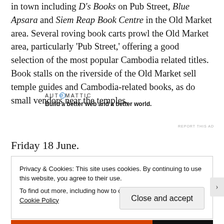in town including D's Books on Pub Street, Blue Apsara and Siem Reap Book Centre in the Old Market area. Several roving book carts prowl the Old Market area, particularly 'Pub Street,' offering a good selection of the most popular Cambodia related titles. Book stalls on the riverside of the Old Market sell temple guides and Cambodia-related books, as do small vendors near the temples.
[Figure (other): Automattic advertisement: logo text 'AUTOMATTIC' with blue @ symbol, tagline 'Build a better web and a better world.']
Friday 18 June.
Privacy & Cookies: This site uses cookies. By continuing to use this website, you agree to their use. To find out more, including how to control cookies, see here: Cookie Policy